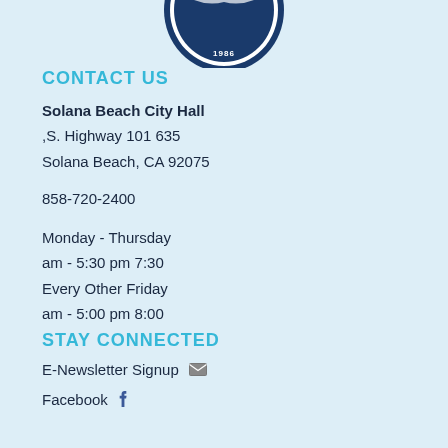[Figure (logo): Solana Beach city seal/logo, circular, with '1986' at bottom, blue and white]
CONTACT US
Solana Beach City Hall
,S. Highway 101 635
Solana Beach, CA 92075

858-720-2400

Monday - Thursday
am - 5:30 pm 7:30
Every Other Friday
am - 5:00 pm 8:00
STAY CONNECTED
E-Newsletter Signup
Facebook